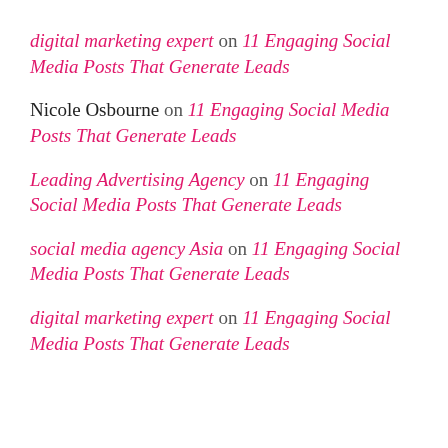digital marketing expert on 11 Engaging Social Media Posts That Generate Leads
Nicole Osbourne on 11 Engaging Social Media Posts That Generate Leads
Leading Advertising Agency on 11 Engaging Social Media Posts That Generate Leads
social media agency Asia on 11 Engaging Social Media Posts That Generate Leads
digital marketing expert on 11 Engaging Social Media Posts That Generate Leads